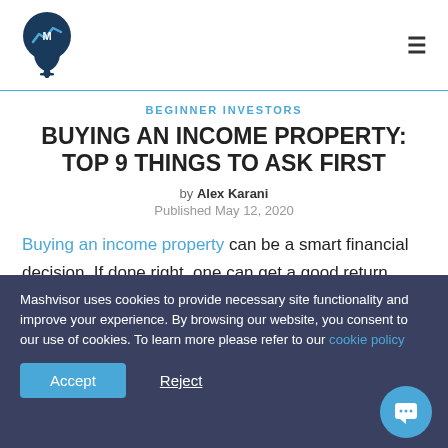[Figure (logo): Mashvisor logo — map pin with M and chart icon inside, dark blue circle]
BEGINNER INVESTORS
BUYING AN INCOME PROPERTY: TOP 9 THINGS TO ASK FIRST
by Alex Karani
Published May 12, 2020
Buying an income property can be a smart financial decision. If done right, one can get a good return through rental income, equity gains, and tax benefits. However,
Mashvisor uses cookies to provide necessary site functionality and improve your experience. By browsing our website, you consent to our use of cookies. To learn more please refer to our cookie policy
Accept   Reject